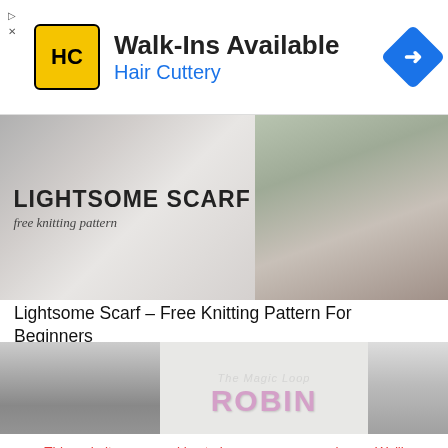[Figure (screenshot): Hair Cuttery advertisement banner with logo, 'Walk-Ins Available' text in bold, 'Hair Cuttery' in blue, and a blue navigation diamond icon on the right]
[Figure (photo): Lightsome Scarf free knitting pattern banner showing bold uppercase text 'LIGHTSOME SCARF' with italic 'free knitting pattern' below, on a grey textile background with a woman wearing a knit scarf on the right side]
Lightsome Scarf – Free Knitting Pattern For Beginners
30/03/2016
[Figure (photo): Robin crochet pattern banner showing two grey crocheted penguin/bird figures with text 'ROBIN' in pink/purple, and watermark 'The Magic Loop']
This website uses cookies to improve your experience. We'll assume you're ok with this, but you can opt-out if you wish.
Accept    Read More